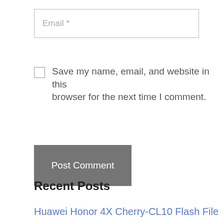Email *
Save my name, email, and website in this browser for the next time I comment.
Post Comment
Recent Posts
Huawei Honor 4X Cherry-CL10 Flash File